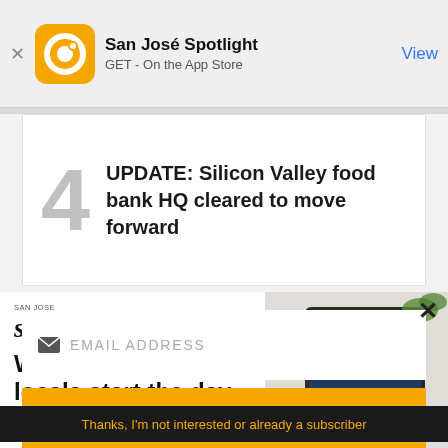San José Spotlight — GET - On the App Store — View
UPDATE: Silicon Valley food bank HQ cleared to move forward
[Figure (screenshot): San José Spotlight advertisement banner showing tablet device and text 'Where San Jose locals start the day.' with sanjosespotlight.com URL]
EMAIL ADDRESS
SUBSCRIBE
Thanks, I'm not interested or already a subscriber